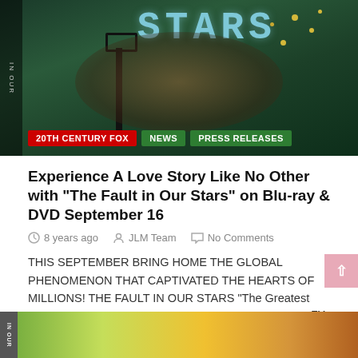[Figure (photo): Movie promotional image for The Fault in Our Stars showing two young people facing each other against a dark green chalkboard background with the word STARS visible and star decorations. A lamp post silhouette is in the background.]
20TH CENTURY FOX
NEWS
PRESS RELEASES
Experience A Love Story Like No Other with "The Fault in Our Stars" on Blu-ray & DVD September 16
8 years ago   JLM Team   No Comments
THIS SEPTEMBER BRING HOME THE GLOBAL PHENOMENON THAT CAPTIVATED THE HEARTS OF MILLIONS!  THE FAULT IN OUR STARS “The Greatest Romance Story of this decade1” is releasing on Blu-ray™ Combo…
[Figure (photo): Bottom strip showing people photographed against a bright yellow-green background, partially cropped.]